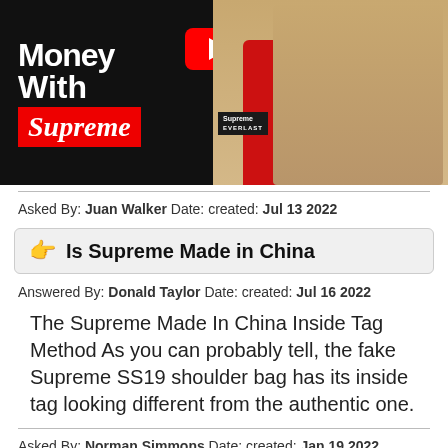[Figure (screenshot): YouTube thumbnail showing 'Money With Supreme' text and a person wearing a red Supreme sweatshirt holding a red Supreme-branded coffee maker]
Asked By: Juan Walker Date: created: Jul 13 2022
👉  Is Supreme Made in China
Answered By: Donald Taylor Date: created: Jul 16 2022
The Supreme Made In China Inside Tag Method As you can probably tell, the fake Supreme SS19 shoulder bag has its inside tag looking different from the authentic one.
Asked By: Norman Simmons Date: created: Jan 19 2022